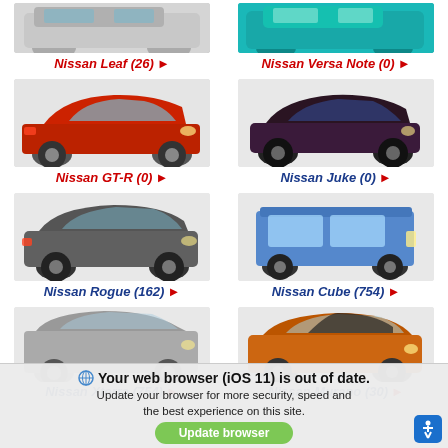[Figure (photo): Nissan Leaf car image (partial, top cropped), silver/white color]
Nissan Leaf (26) ▶
[Figure (photo): Nissan Versa Note car image (partial, top cropped), teal/turquoise color]
Nissan Versa Note (0) ▶
[Figure (photo): Nissan GT-R car image, red sports car]
Nissan GT-R (0) ▶
[Figure (photo): Nissan Juke car image, dark purple/black SUV]
Nissan Juke (0) ▶
[Figure (photo): Nissan Rogue car image, dark gray SUV]
Nissan Rogue (162) ▶
[Figure (photo): Nissan Cube car image, blue boxy vehicle]
Nissan Cube (754) ▶
[Figure (photo): Nissan Xterra car image (partial, bottom cropped), silver SUV]
Nissan Xterra (754) ▶
[Figure (photo): Nissan Murano car image (partial, bottom cropped), orange SUV]
Nissan Murano (30) ▶
Your web browser (iOS 11) is out of date. Update your browser for more security, speed and the best experience on this site.